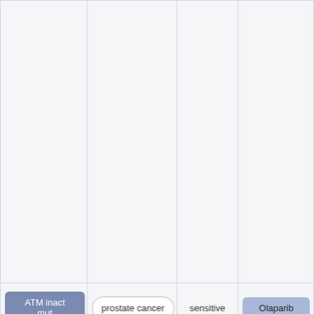|  |  |  |  |
| ATM inact mut | prostate cancer | sensitive | Olaparib |